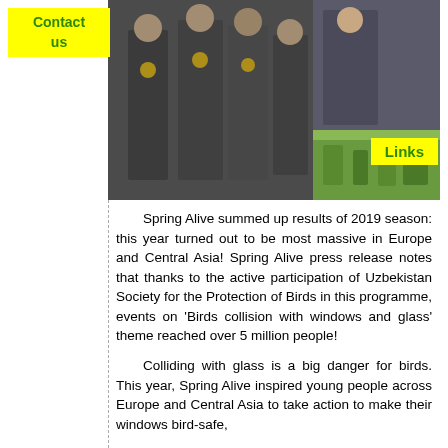[Figure (photo): Two photos side by side showing people in dark uniforms/vests, possibly students at an event. Right side shows a green outdoor area.]
Contact us
Links
Spring Alive summed up results of 2019 season: this year turned out to be most massive in Europe and Central Asia! Spring Alive press release notes that thanks to the active participation of Uzbekistan Society for the Protection of Birds in this programme, events on 'Birds collision with windows and glass' theme reached over 5 million people!
Colliding with glass is a big danger for birds. This year, Spring Alive inspired young people across Europe and Central Asia to take action to make their windows bird-safe,